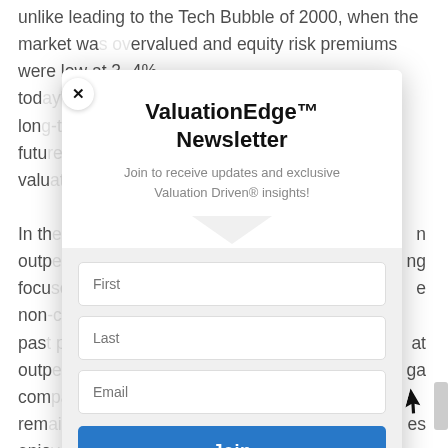unlike leading to the Tech Bubble of 2000, when the market was overvalued and equity risk premiums were low at 3-4%, today's... long... future... value...
In th... outp... focu... non... past... outp... com... rem... enjo... man... con... sha... com...
ValuationEdge™ Newsletter
Join to receive updates and exclusive Valuation Driven® insights!
[Figure (screenshot): Newsletter signup modal with First, Last, Email input fields and a Join button]